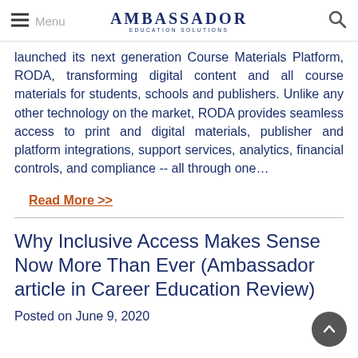AMBASSADOR EDUCATION SOLUTIONS
launched its next generation Course Materials Platform, RODA, transforming digital content and all course materials for students, schools and publishers. Unlike any other technology on the market, RODA provides seamless access to print and digital materials, publisher and platform integrations, support services, analytics, financial controls, and compliance -- all through one…
Read More >>
Why Inclusive Access Makes Sense Now More Than Ever (Ambassador article in Career Education Review)
Posted on June 9, 2020